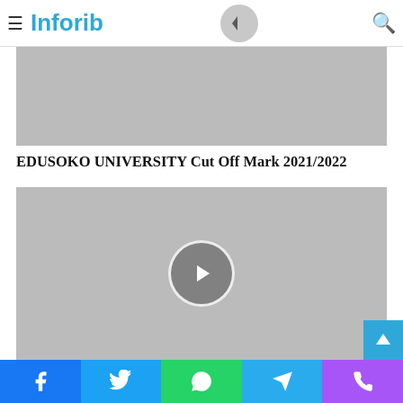≡ Inforib [search icon]
[Figure (photo): Gray placeholder image at top]
EDUSOKO UNIVERSITY Cut Off Mark 2021/2022
[Figure (photo): Gray placeholder image with forward navigation circle button in center]
EKSUTH School Of Nursing Entrance Exams Result 2021/2022 is Out
Social share bar: Facebook, Twitter, WhatsApp, Telegram, Phone